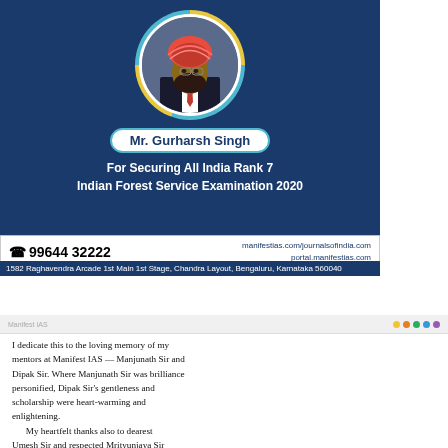[Figure (photo): Promotional card for Mr. Gurharsh Singh with photo, name badge, rank achievement text, phone number, website links, and address. Blue background with circular photo of man wearing red turban and black suit.]
Mr. Gurharsh Singh
For Securing All India Rank 7
Indian Forest Service Examination 2020
99644 32222
manifestias.com/journalsofindia.com
portal.manifestias.com
1582 Raghavendra Arcade 1st Main 1st Stage, Chandra Layout, Bengaluru, Karnataka 560040
I dedicate this to the loving memory of my mentors at Manifest IAS - Manjunath Sir and Dipak Sir. Where Manjunath Sir was brilliance personified, Dipak Sir's gentleness and scholarship were heart-warming and enlightening.
     My heartfelt thanks also to dearest Umesh Sir and respected Mrityunjaya Sir for being my teachers, friends and family in Bengaluru. Thanks also to Vinay Sir for being always readily available.
     I would wholeheartedly recommend the sincere and scholarly guidance given by the faculty at Manifest IAS to future